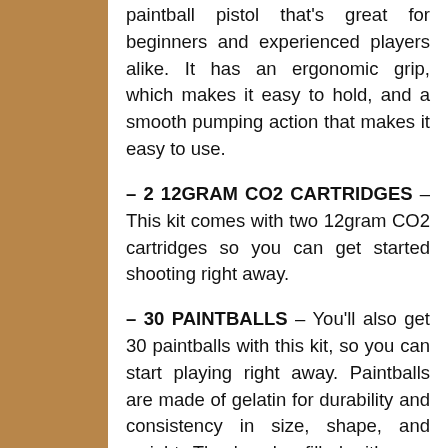paintball pistol that's great for beginners and experienced players alike. It has an ergonomic grip, which makes it easy to hold, and a smooth pumping action that makes it easy to use.
– 2 12GRAM CO2 CARTRIDGES – This kit comes with two 12gram CO2 cartridges so you can get started shooting right away.
– 30 PAINTBALLS – You'll also get 30 paintballs with this kit, so you can start playing right away. Paintballs are made of gelatin for durability and consistency in size, shape, and weight. They're also filled with non-toxic, biodegradable paint.